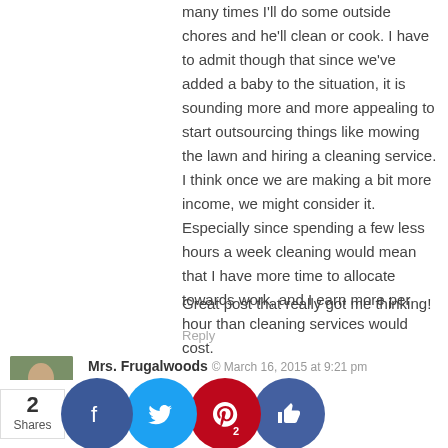many times I'll do some outside chores and he'll clean or cook. I have to admit though that since we've added a baby to the situation, it is sounding more and more appealing to start outsourcing things like mowing the lawn and hiring a cleaning service. I think once we are making a bit more income, we might consider it. Especially since spending a few less hours a week cleaning would mean that I have more time to allocate towards work, and I earn more per hour than cleaning services would cost.
Great post that really got me thinking!
Reply
Mrs. Frugalwoods © March 16, 2015 at 9:21 pm
That's nice that you two sometimes rotate between your duties–provides a nice change of pace, I imagine :). I think if the math works to hire a housecleaner, then go for it!
Reply
Ge…nance G… March 1… at 5:1…
M… nd I a… ying t… t bala… t